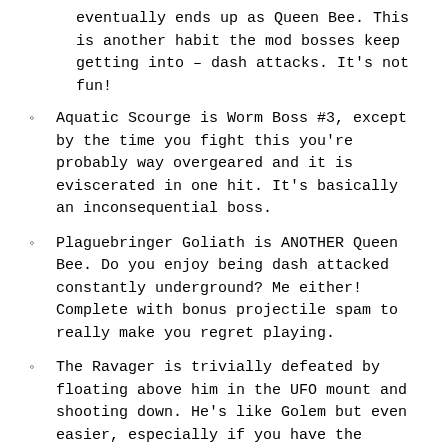eventually ends up as Queen Bee. This is another habit the mod bosses keep getting into – dash attacks. It's not fun!
Aquatic Scourge is Worm Boss #3, except by the time you fight this you're probably way overgeared and it is eviscerated in one hit. It's basically an inconsequential boss.
Plaguebringer Goliath is ANOTHER Queen Bee. Do you enjoy being dash attacked constantly underground? Me either! Complete with bonus projectile spam to really make you regret playing.
The Ravager is trivially defeated by floating above him in the UFO mount and shooting down. He's like Golem but even easier, especially if you have the